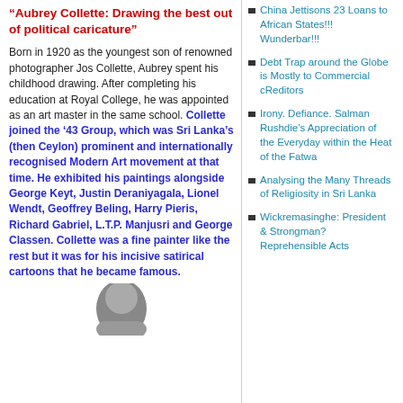"Aubrey Collette: Drawing the best out of political caricature"
Born in 1920 as the youngest son of renowned photographer Jos Collette, Aubrey spent his childhood drawing. After completing his education at Royal College, he was appointed as an art master in the same school. Collette joined the ’43 Group, which was Sri Lanka’s (then Ceylon) prominent and internationally recognised Modern Art movement at that time. He exhibited his paintings alongside George Keyt, Justin Deraniyagala, Lionel Wendt, Geoffrey Beling, Harry Pieris, Richard Gabriel, L.T.P. Manjusri and George Classen. Collette was a fine painter like the rest but it was for his incisive satirical cartoons that he became famous.
China Jettisons 23 Loans to African States!!! Wunderbar!!!
Debt Trap around the Globe is Mostly to Commercial cReditors
Irony. Defiance. Salman Rushdie’s Appreciation of the Everyday within the Heat of the Fatwa
Analysing the Many Threads of Religiosity in Sri Lanka
Wickremasinghe: President & Strongman? Reprehensible Acts
[Figure (photo): Partial photo of a person (head/shoulders), black and white or grayscale, visible at the bottom of the left column]